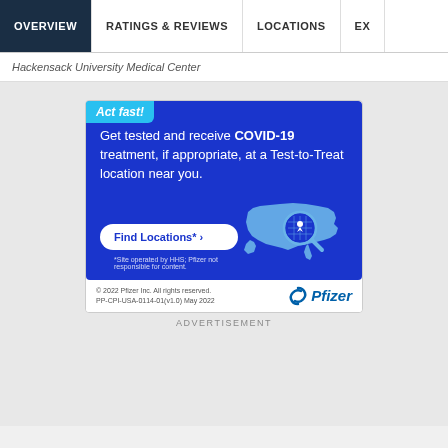OVERVIEW | RATINGS & REVIEWS | LOCATIONS | EX
Hackensack University Medical Center
[Figure (infographic): Pfizer COVID-19 Test-to-Treat advertisement. Blue background with 'Act fast!' badge in light blue. Text reads: Get tested and receive COVID-19 treatment, if appropriate, at a Test-to-Treat location near you. Includes a 'Find Locations*' button and a USA map graphic with magnifying glass icon. Footer shows Pfizer logo, copyright 2022 Pfizer Inc. All rights reserved. PP-CPI-USA-0114-01(v1.0) May 2022. Disclaimer: *Site operated by HHS; Pfizer not responsible for content.]
ADVERTISEMENT